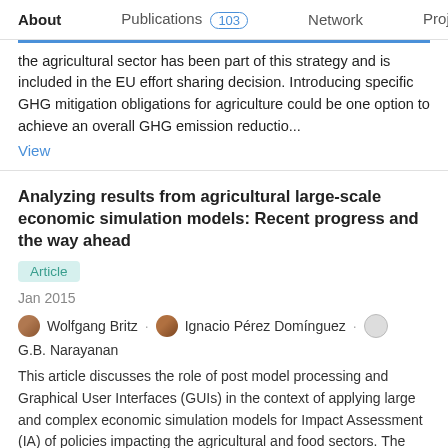About  Publications 103  Network  Projects 3
the agricultural sector has been part of this strategy and is included in the EU effort sharing decision. Introducing specific GHG mitigation obligations for agriculture could be one option to achieve an overall GHG emission reductio...
View
Analyzing results from agricultural large-scale economic simulation models: Recent progress and the way ahead
Article
Jan 2015
Wolfgang Britz · Ignacio Pérez Domínguez · G.B. Narayanan
This article discusses the role of post model processing and Graphical User Interfaces (GUIs) in the context of applying large and complex economic simulation models for Impact Assessment (IA) of policies impacting the agricultural and food sectors. The calculation of indicators from different domains and decomposition approaches is presented as pa...